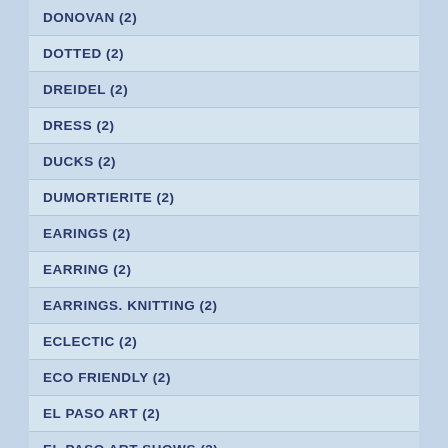DONOVAN (2)
DOTTED (2)
DREIDEL (2)
DRESS (2)
DUCKS (2)
DUMORTIERITE (2)
EARINGS (2)
EARRING (2)
EARRINGS. KNITTING (2)
ECLECTIC (2)
ECO FRIENDLY (2)
EL PASO ART (2)
EL PASO ART SHOWS (2)
EL PASO ARTISTS STUDIO TOUR (2)
EL PASO PHOTOGRAPHY (2)
EMBROIDERY (2)
ENAMEL EARRINGS (2)